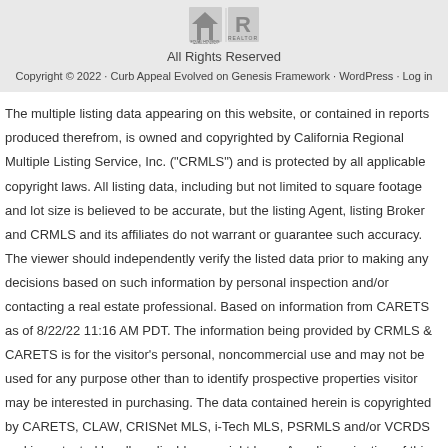[Figure (logo): Equal Housing Opportunity and REALTOR logos side by side]
All Rights Reserved
Copyright © 2022 · Curb Appeal Evolved on Genesis Framework · WordPress · Log in
The multiple listing data appearing on this website, or contained in reports produced therefrom, is owned and copyrighted by California Regional Multiple Listing Service, Inc. ("CRMLS") and is protected by all applicable copyright laws. All listing data, including but not limited to square footage and lot size is believed to be accurate, but the listing Agent, listing Broker and CRMLS and its affiliates do not warrant or guarantee such accuracy. The viewer should independently verify the listed data prior to making any decisions based on such information by personal inspection and/or contacting a real estate professional. Based on information from CARETS as of 8/22/22 11:16 AM PDT. The information being provided by CRMLS & CARETS is for the visitor's personal, noncommercial use and may not be used for any purpose other than to identify prospective properties visitor may be interested in purchasing. The data contained herein is copyrighted by CARETS, CLAW, CRISNet MLS, i-Tech MLS, PSRMLS and/or VCRDS and is protected by all applicable copyright laws. Any dissemination of this information is in violation of copyright laws and is strictly prohibited.